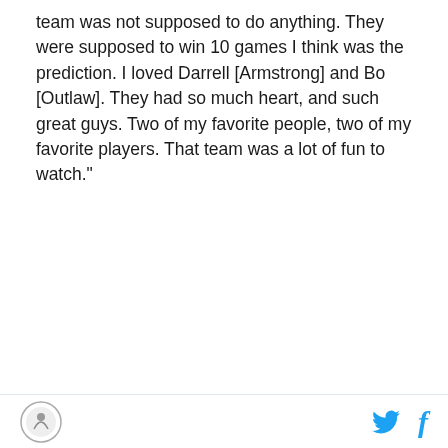team was not supposed to do anything. They were supposed to win 10 games I think was the prediction. I loved Darrell [Armstrong] and Bo [Outlaw]. They had so much heart, and such great guys. Two of my favorite people, two of my favorite players. That team was a lot of fun to watch."
[Figure (screenshot): Embedded tweet from Orlando Magic (@OrlandoMagic) with verified checkmark and Follow button. Tweet text: 🔊"WHY NOT US...WHY NOT NOW!" - @steelemagic. Includes a video thumbnail with a 'Watch on Twitter' button.]
Footer with site logo on left and Twitter/Facebook icons on right